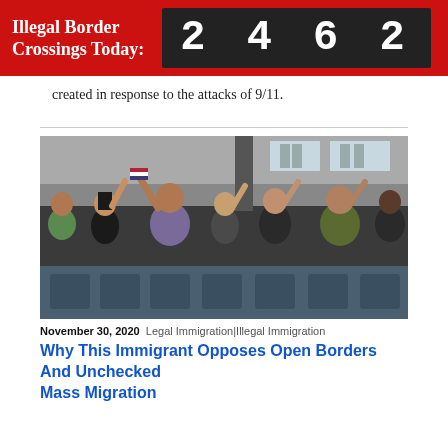Illegal Border Crossings Today: 2462
created in response to the attacks of 9/11.
[Figure (photo): Group of diverse people standing and raising their right hands, appearing to take an oath at a naturalization ceremony, holding small American flags, in a large indoor venue with rows of chairs.]
November 30, 2020  Legal Immigration|Illegal Immigration
Why This Immigrant Opposes Open Borders And Unchecked Mass Migration